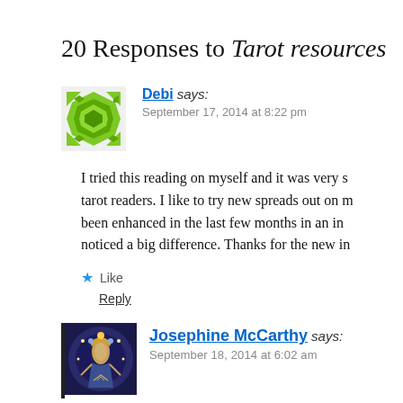20 Responses to Tarot resources
Debi says:
September 17, 2014 at 8:22 pm
I tried this reading on myself and it was very s... tarot readers. I like to try new spreads out on m... been enhanced in the last few months in an in... noticed a big difference. Thanks for the new in...
Like
Reply
Josephine McCarthy says:
September 18, 2014 at 6:02 am